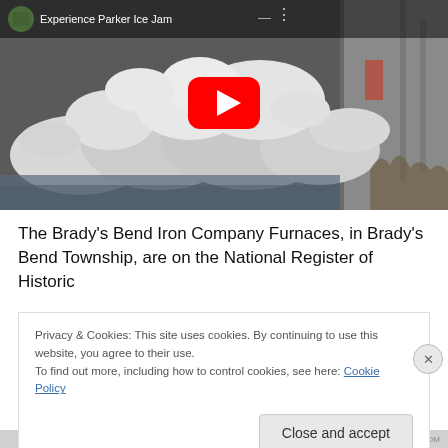[Figure (screenshot): YouTube video thumbnail showing an ice jam scene. Title reads 'Experience Parker Ice Jam'. Red YouTube play button in center. Shows churning ice and water against concrete walls.]
The Brady’s Bend Iron Company Furnaces, in Brady’s Bend Township, are on the National Register of Historic
Privacy & Cookies: This site uses cookies. By continuing to use this website, you agree to their use.
To find out more, including how to control cookies, see here: Cookie Policy
Close and accept